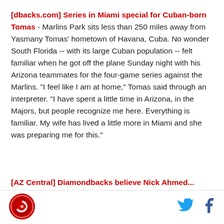[dbacks.com] Series in Miami special for Cuban-born Tomas - Marlins Park sits less than 250 miles away from Yasmany Tomas' hometown of Havana, Cuba. No wonder South Florida -- with its large Cuban population -- felt familiar when he got off the plane Sunday night with his Arizona teammates for the four-game series against the Marlins. "I feel like I am at home," Tomas said through an interpreter. "I have spent a little time in Arizona, in the Majors, but people recognize me here. Everything is familiar. My wife has lived a little more in Miami and she was preparing me for this."
[AZ Central] Diamondbacks believe Nick Ahmed...
[Figure (logo): Circular red logo with sports team branding]